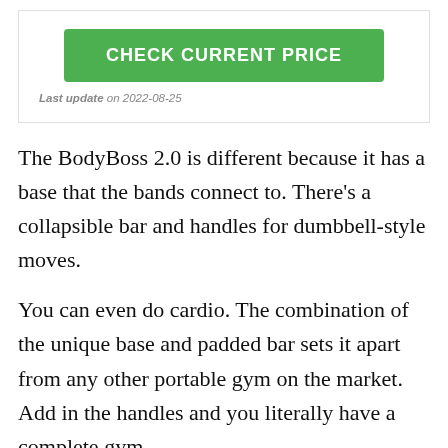[Figure (other): Green 'CHECK CURRENT PRICE' button inside a bordered box]
Last update on 2022-08-25
The BodyBoss 2.0 is different because it has a base that the bands connect to. There’s a collapsible bar and handles for dumbbell-style moves.
You can even do cardio. The combination of the unique base and padded bar sets it apart from any other portable gym on the market. Add in the handles and you literally have a complete gym.